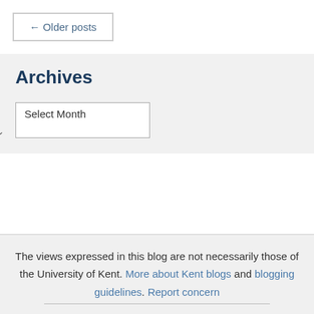← Older posts
Archives
Select Month
The views expressed in this blog are not necessarily those of the University of Kent. More about Kent blogs and blogging guidelines. Report concern